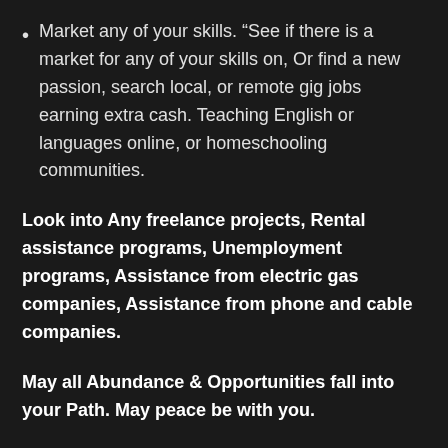Market any of your skills. “See if there is a market for any of your skills on, Or find a new passion, search local, or remote gig jobs earning extra cash. Teaching English or languages online, or homeschooling communities.
Look into Any freelance projects, Rental assistance programs, Unemployment programs, Assistance from electric gas companies, Assistance from phone and cable companies.
May all Abundance & Opportunities fall into your Path. May peace be with you.